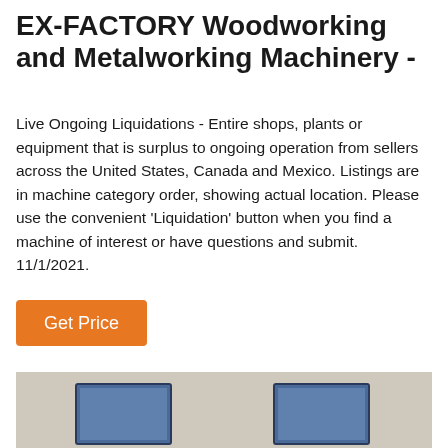EX-FACTORY Woodworking and Metalworking Machinery -
Live Ongoing Liquidations - Entire shops, plants or equipment that is surplus to ongoing operation from sellers across the United States, Canada and Mexico. Listings are in machine category order, showing actual location. Please use the convenient 'Liquidation' button when you find a machine of interest or have questions and submit. 11/1/2021.
Get Price
[Figure (photo): Photo of machinery equipment showing two monitor/control panel screens against a beige background, partially visible at the bottom of the page.]